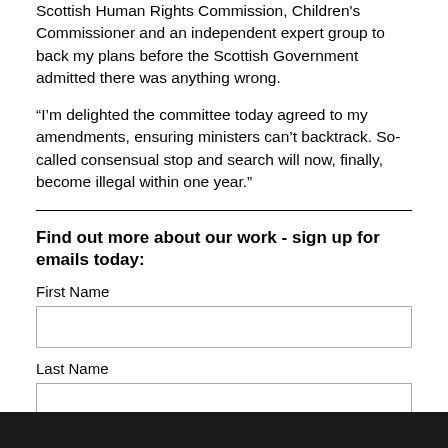Scottish Human Rights Commission, Children's Commissioner and an independent expert group to back my plans before the Scottish Government admitted there was anything wrong.
“I’m delighted the committee today agreed to my amendments, ensuring ministers can’t backtrack. So-called consensual stop and search will now, finally, become illegal within one year.”
Find out more about our work - sign up for emails today:
First Name
Last Name